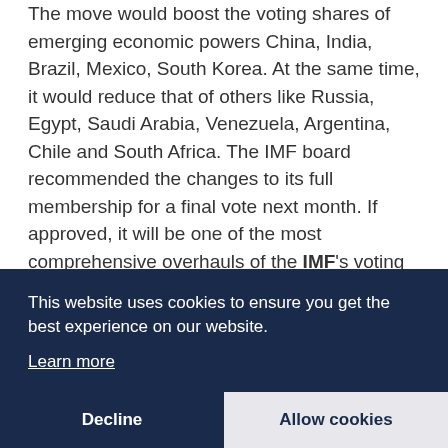The move would boost the voting shares of emerging economic powers China, India, Brazil, Mexico, South Korea. At the same time, it would reduce that of others like Russia, Egypt, Saudi Arabia, Venezuela, Argentina, Chile and South Africa. The IMF board recommended the changes to its full membership for a final vote next month. If approved, it will be one of the most comprehensive overhauls of the IMF's voting system in 60 years, aimed at recognizing the rapid rise of economies such as China and India.
IMF Managing Director Dominique Strauss-Kahn said th... [partially obscured by cookie banner] direction ... and it is an improvement in the legitimacy
This website uses cookies to ensure you get the best experience on our website. Learn more